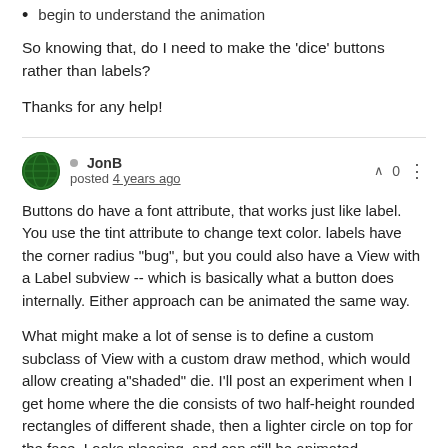begin to understand the animation
So knowing that, do I need to make the 'dice' buttons rather than labels?
Thanks for any help!
JonB posted 4 years ago
Buttons do have a font attribute, that works just like label. You use the tint attribute to change text color. labels have the corner radius "bug", but you could also have a View with a Label subview -- which is basically what a button does internally. Either approach can be animated the same way.
What might make a lot of sense is to define a custom subclass of View with a custom draw method, which would allow creating a"shaded" die. I'll post an experiment when I get home where the die consists of two half-height rounded rectangles of different shade, then a lighter circle on top for the face. Looks pleasing, and can still be animated.
Is your goal to create just the game board, and individual players